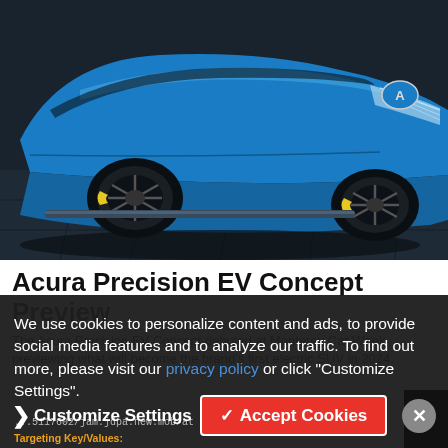[Figure (photo): Blue Acura Precision EV Concept SUV, photographed from the front-left angle on a dark grey tiled surface. The car has bold blue metallic paint, large stylized wheels, and the Acura logo on the hood. Dark moody lighting.]
Acura Precision EV Concept Preview
The Acura Precision EV Concept debuted at Monterey Car Week, previewing what will become the brand's first electric SUV in 2024.
We use cookies to personalize content and ads, to provide social media features and to analyze our traffic. To find out more, please visit our privacy policy or click "Customize Settings".
Targeting Key/Values:
• browser = ...
• prod = acura
• pub = ...